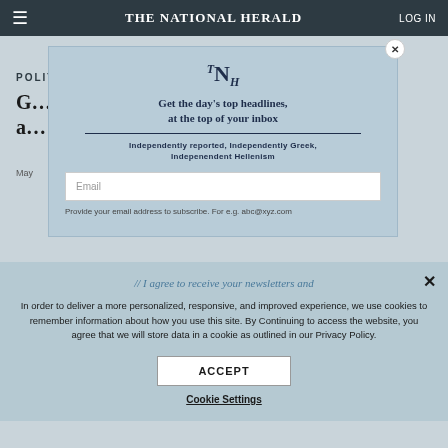THE NATIONAL HERALD | LOG IN
POLITICS
G... s a...
May
[Figure (other): TNH newsletter signup modal with logo, headline: Get the day's top headlines, at the top of your inbox, tagline: Independently reported, Independently Greek, Indepenendent Hellenism, and email input field with hint: Provide your email address to subscribe. For e.g. abc@xyz.com]
In order to deliver a more personalized, responsive, and improved experience, we use cookies to remember information about how you use this site. By Continuing to access the website, you agree that we will store data in a cookie as outlined in our Privacy Policy.
ACCEPT
Cookie Settings